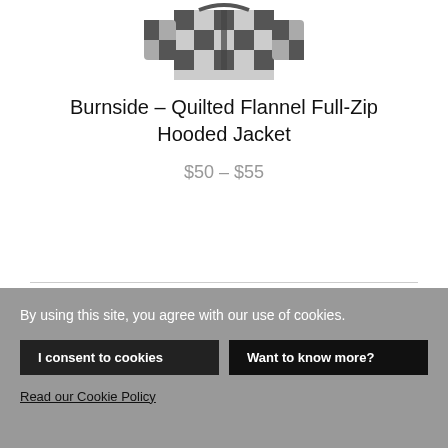[Figure (photo): Partial view of a black and gray buffalo plaid flannel hooded jacket, showing the torso and arms, cropped at the top.]
Burnside – Quilted Flannel Full-Zip Hooded Jacket
$50 – $55
By using this site, you agree with our use of cookies.
I consent to cookies
Want to know more?
Read our Cookie Policy